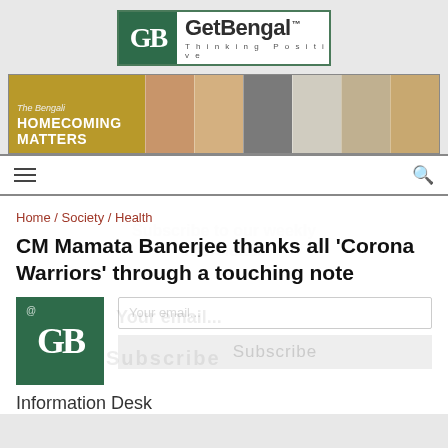[Figure (logo): GetBengal logo with GB monogram in green box and tagline 'Thinking Positive']
[Figure (photo): Banner advertisement for 'Homecoming Matters' from The Bengali magazine showing various craft and product images]
[Figure (other): Navigation bar with hamburger menu icon on left and search icon on right]
Home / Society / Health
CM Mamata Banerjee thanks all ‘Corona Warriors’ through a touching note
[Figure (logo): GetBengal GB logo in green square with @ symbol]
Information Desk